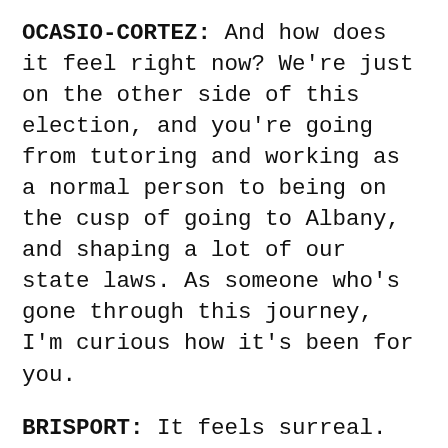OCASIO-CORTEZ: And how does it feel right now? We're just on the other side of this election, and you're going from tutoring and working as a normal person to being on the cusp of going to Albany, and shaping a lot of our state laws. As someone who's gone through this journey, I'm curious how it's been for you.
BRISPORT: It feels surreal. It's been a few weeks since the election, and people are already reaching out with constituent service requests. I'm sure the same thing happened to you. You